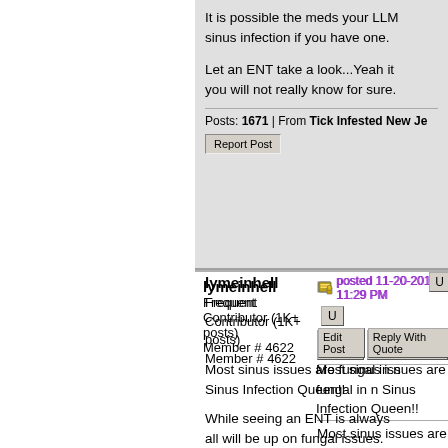It is possible the meds your LLM sinus infection if you have one.
Let an ENT take a look...Yeah it you will not really know for sure.
Posts: 1671 | From Tick Infested New Je
Report Post
lymeinhell
Frequent Contributor (1K+ posts)
Member # 4622
posted 11-20-2012 11:29 PM
Edit Post   Reply With Quote
Most sinus issues are fungal in n Sinus Infection Queen!!
While seeing an ENT is always all will be up on fungal issues.
I know mine wasn't (nor was my my sinus issues were fungal, am Diflucan for a couple months co
After just 1 month I returned to t improvement (they had previousl
Suffice to say, my 'chronic sinus care by both the ENT and Allerg
I would also suggest you look in which prevents bacteria and fun